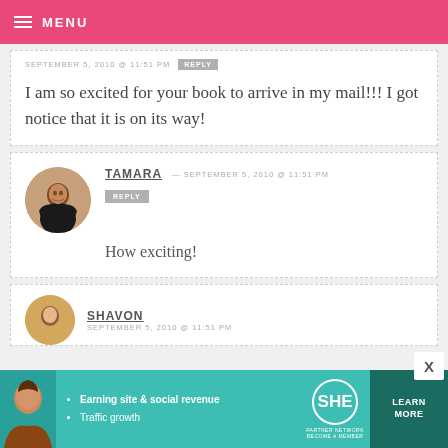MENU
SEPTEMBER 5, 2010 @ 11:51 PM  REPLY
I am so excited for your book to arrive in my mail!!! I got notice that it is on its way!
TAMARA — SEPTEMBER 5, 2010 @ 11:51 PM  REPLY
How exciting!
SHAVON  SEPTEMBER 5, 2010 @ 11:51 PM
[Figure (infographic): SHE Partner Network advertisement banner with teal background, showing woman photo, bullet points about Earning site & social revenue and Traffic growth, SHE logo, and LEARN MORE button]